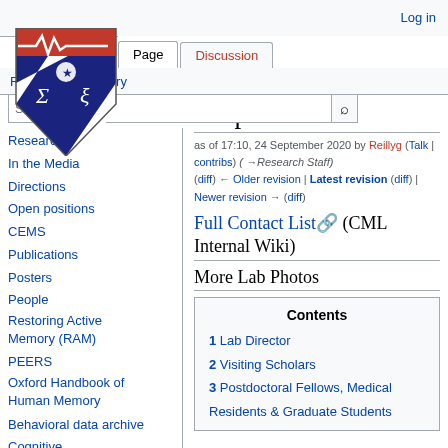Log in
[Figure (logo): University of Pennsylvania shield logo with red top bar containing a white heartbeat/EKG line, and blue lower half with sigma and xi symbols]
Page | Discussion | Read | View history
Search
People
as of 17:10, 24 September 2020 by Reillyg (Talk | contribs) (→Research Staff) (diff) ← Older revision | Latest revision (diff) | Newer revision → (diff)
Full Contact List (CML Internal Wiki)
More Lab Photos
Research
In the Media
Directions
Open positions
CEMS
Publications
Posters
People
Restoring Active Memory (RAM)
PEERS
Oxford Handbook of Human Memory
Behavioral data archive
| Contents |
| --- |
| 1 Lab Director |
| 2 Visiting Scholars |
| 3 Postdoctoral Fellows, Medical |
| Residents & Graduate Students |